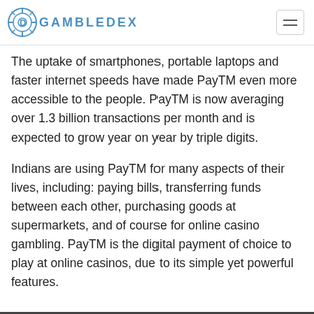GAMBLEDEX
The uptake of smartphones, portable laptops and faster internet speeds have made PayTM even more accessible to the people. PayTM is now averaging over 1.3 billion transactions per month and is expected to grow year on year by triple digits.
Indians are using PayTM for many aspects of their lives, including: paying bills, transferring funds between each other, purchasing goods at supermarkets, and of course for online casino gambling. PayTM is the digital payment of choice to play at online casinos, due to its simple yet powerful features.